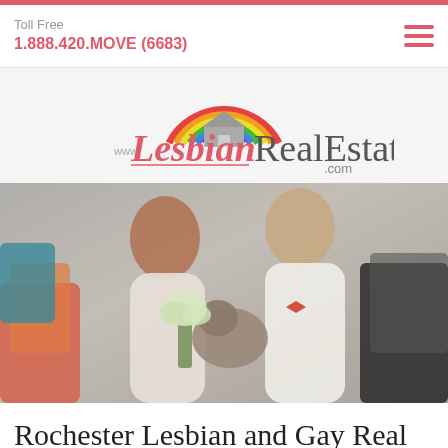Toll Free
1.888.420.MOVE (6683)
[Figure (logo): www.LesbianRealEstate.com logo with rainbow arch over a house silhouette]
[Figure (photo): A couple smiling and looking at a small dog; one person with short red hair holding flowers, the other wearing a bow tie, sitting on a couch with colorful pillows]
Rochester Lesbian and Gay Real Estate Agents